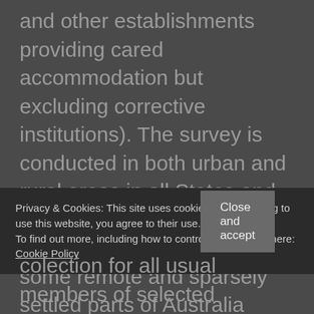and other establishments providing cared accommodation but excluding corrective institutions). The survey is conducted in both urban and rural areas in all States and Territories, but since 1997 excludes persons living in some remote and sparsely settled parts of Australia (ABS Survey of Disability, Ageing and Carers: User Guide 1998).
Privacy & Cookies: This site uses cookies. By continuing to use this website, you agree to their use.
To find out more, including how to control cookies, see here: Cookie Policy
Close and accept
colection for all usual members of selected